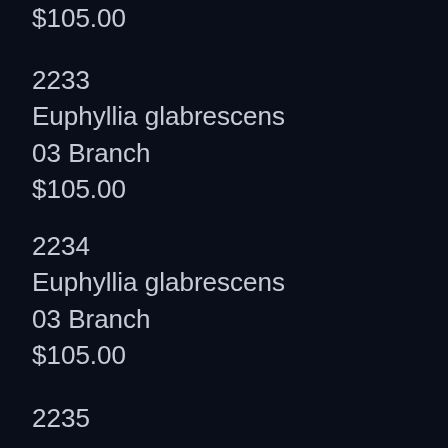$105.00
2233
Euphyllia glabrescens
03 Branch
$105.00
2234
Euphyllia glabrescens
03 Branch
$105.00
2235